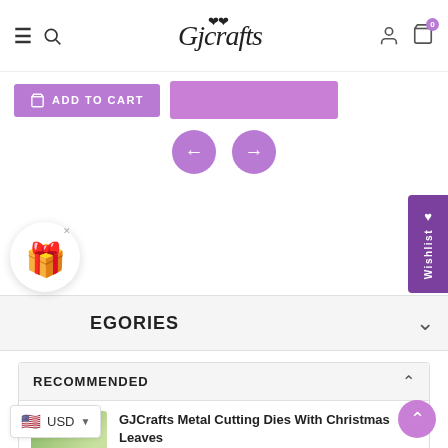GJCrafts - navigation header with logo, hamburger menu, search, user account, and cart icons
ADD TO CART
[Figure (screenshot): Purple add to cart button with cart icon, and a secondary purple buy now button]
[Figure (illustration): Navigation previous and next arrows as purple circles]
[Figure (illustration): Wishlist sidebar tab with heart icon on the right edge]
[Figure (illustration): Gift box popup circle with close X button]
EGORIES
RECOMMENDED
GJCrafts Metal Cutting Dies With Christmas Leaves
$13.39
USD
[Figure (photo): Thumbnail of Christmas leaves craft die product]